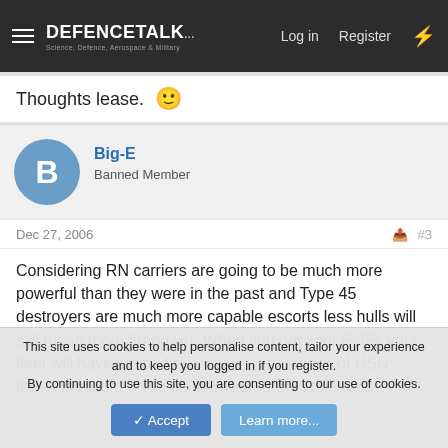DEFENCETALK | Log in | Register
Thoughts lease. 🙂
Big-E
Banned Member
Dec 27, 2006  #3
Considering RN carriers are going to be much more powerful than they were in the past and Type 45 destroyers are much more capable escorts less hulls will still mean more firepower. When you get your F-35s your fleet will have jumped two whole generations of USN transformation. If you fielded your future CSG today you would probably put a current USN CSG at the
This site uses cookies to help personalise content, tailor your experience and to keep you logged in if you register.
By continuing to use this site, you are consenting to our use of cookies.